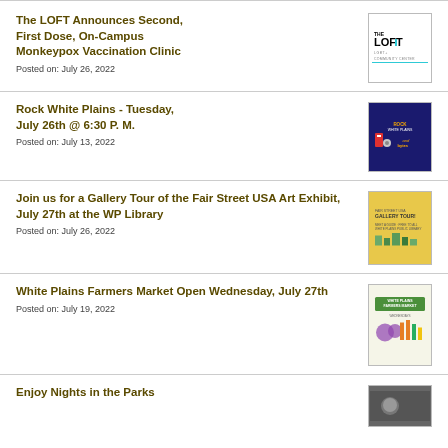The LOFT Announces Second, First Dose, On-Campus Monkeypox Vaccination Clinic
Posted on: July 26, 2022
Rock White Plains - Tuesday, July 26th @ 6:30 P.M.
Posted on: July 13, 2022
Join us for a Gallery Tour of the Fair Street USA Art Exhibit, July 27th at the WP Library
Posted on: July 26, 2022
White Plains Farmers Market Open Wednesday, July 27th
Posted on: July 19, 2022
Enjoy Nights in the Parks...